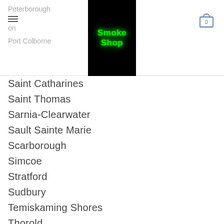Peterborough | [menu icon] on | Port Colborne | [Smoke Shop logo] | [cart icon, 0]
Saint Catharines
Saint Thomas
Sarnia-Clearwater
Sault Sainte Marie
Scarborough
Simcoe
Stratford
Sudbury
Temiskaming Shores
Thorold
Thunder Bay
Timmins
Toronto
Trenton
Waterloo